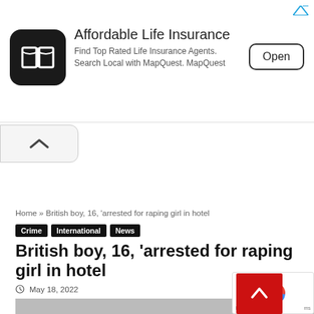[Figure (screenshot): Advertisement banner for Affordable Life Insurance (MapQuest). Shows MapQuest logo (black rounded square with open book icon), text 'Affordable Life Insurance - Find Top Rated Life Insurance Agents. Search Local with MapQuest. MapQuest', and an 'Open' button. Blue arrow ad indicator top-right.]
Home » British boy, 16, 'arrested for raping girl in hotel
Crime
International
News
British boy, 16, 'arrested for raping girl in hotel
May 18, 2022
[Figure (photo): Gray placeholder image (article photo not yet loaded)]